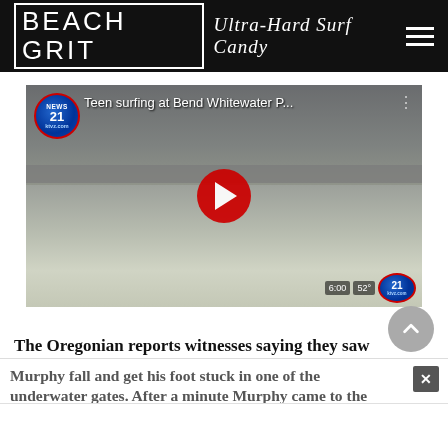BEACH GRIT Ultra-Hard Surf Candy
[Figure (screenshot): YouTube video thumbnail showing 'Teen surfing at Bend Whitewater P...' with News 21 logo, red play button, outdoor river scene in Bend Oregon, bottom right shows 6:00 52° and channel 21 (ktvz.com) badge]
The Oregonian reports witnesses saying they saw
Murphy fall and get his foot stuck in one of the underwater gates. After a minute Murphy came to the